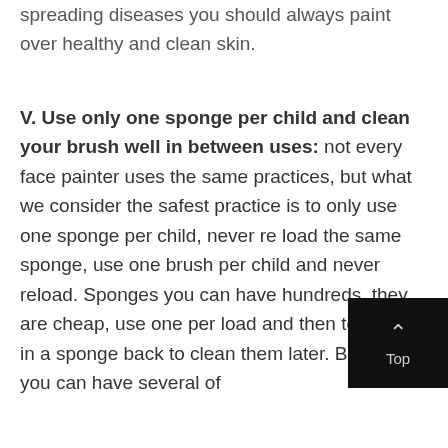spreading diseases you should always paint over healthy and clean skin.
V. Use only one sponge per child and clean your brush well in between uses: not every face painter uses the same practices, but what we consider the safest practice is to only use one sponge per child, never re load the same sponge, use one brush per child and never reload. Sponges you can have hundreds, they are cheap, use one per load and then toss them in a sponge back to clean them later. Brushes you can have several of